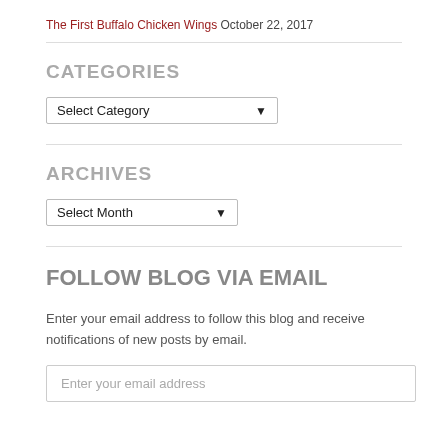The First Buffalo Chicken Wings  October 22, 2017
CATEGORIES
Select Category
ARCHIVES
Select Month
FOLLOW BLOG VIA EMAIL
Enter your email address to follow this blog and receive notifications of new posts by email.
Enter your email address